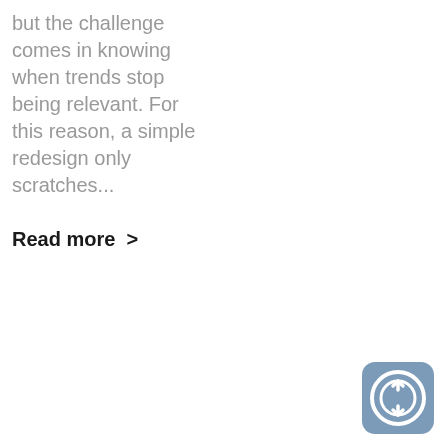but the challenge comes in knowing when trends stop being relevant. For this reason, a simple redesign only scratches...
Read more >
[Figure (logo): Rounded square icon with blue-grey background, containing a circular arrow/refresh symbol with up and down arrows inside a circle, white on blue-grey.]